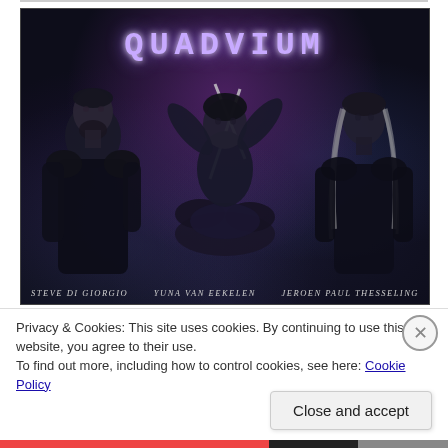[Figure (photo): Promotional band photo for QUADVIUM. Three musicians on a dark atmospheric background with purple/blue lighting and smoke effects. Left: Steve Di Giorgio, Center: Yuna van Eekelen (drummer), Right: Jeroen Paul Thesseling. Band name 'QUADVIUM' displayed in large styled letters at top.]
Privacy & Cookies: This site uses cookies. By continuing to use this website, you agree to their use.
To find out more, including how to control cookies, see here: Cookie Policy
Close and accept